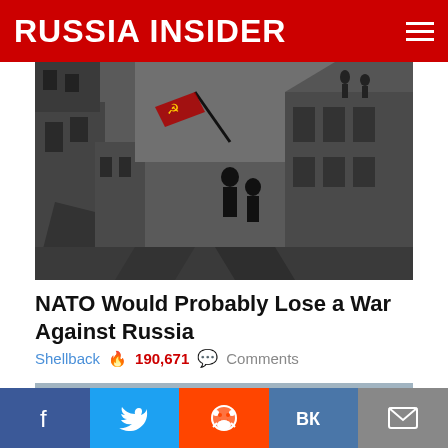RUSSIA INSIDER
[Figure (photo): Black and white WWII photo of Soviet soldier raising red flag over the Reichstag in Berlin, with ruins and soldiers in the background.]
NATO Would Probably Lose a War Against Russia
Shellback  🔥 190,671  💬 Comments
[Figure (photo): Color photo of Russian military missile launcher vehicles (S-300 or similar) in a convoy on a road.]
Facebook  Twitter  Reddit  VK  Email